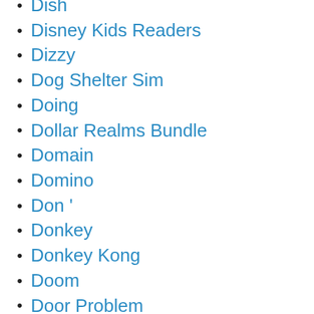Dish
Disney Kids Readers
Dizzy
Dog Shelter Sim
Doing
Dollar Realms Bundle
Domain
Domino
Don '
Donkey
Donkey Kong
Doom
Door Problem
Double Ninth Festival
Douglass
Dr Mario World